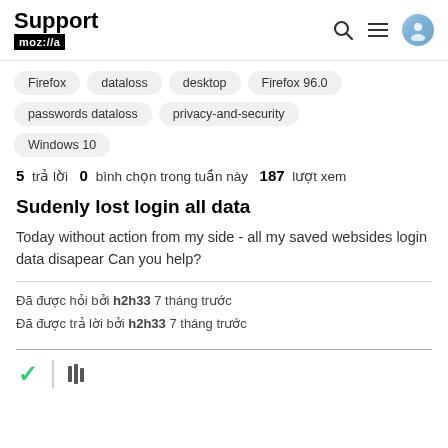Support mozilla
Firefox
dataloss
desktop
Firefox 96.0
passwords dataloss
privacy-and-security
Windows 10
5 trả lời  0  bình chọn trong tuần này  187  lượt xem
Sudenly lost login all data
Today without action from my side - all my saved websides login data disapear Can you help?
Đã được hỏi bởi h2h33 7 tháng trước
Đã được trả lời bởi h2h33 7 tháng trước